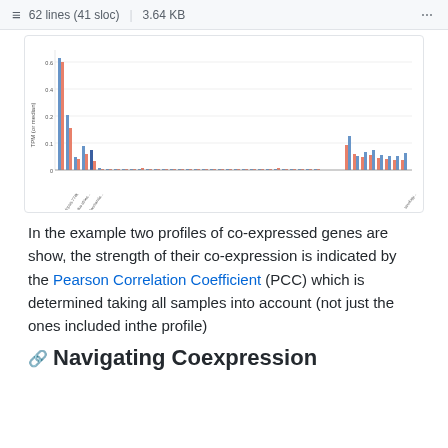≡  62 lines (41 sloc)  |  3.64 KB  ···
[Figure (bar-chart): Bar chart showing expression levels (TPM or similar) for many genes/samples across x-axis, with two series (blue and red/salmon bars). Most bars are near zero; a few tall bars appear at left and right portions of chart. Y-axis appears to go from 0 to ~0.6+.]
In the example two profiles of co-expressed genes are show, the strength of their co-expression is indicated by the Pearson Correlation Coefficient (PCC) which is determined taking all samples into account (not just the ones included inthe profile)
🔗 Navigating Coexpression